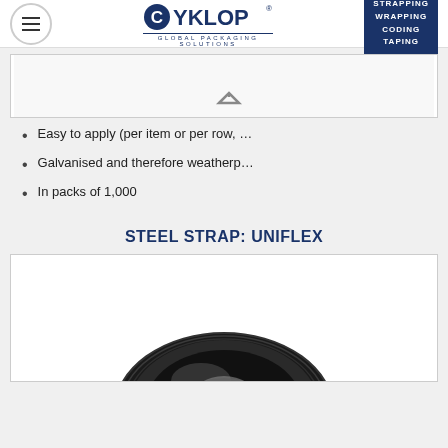Cyklop Global Packaging Solutions — STRAPPING WRAPPING CODING TAPING
[Figure (photo): Top portion of a product image (partially visible), showing only bottom edge with a small chevron/arrow icon]
Easy to apply (per item or per row, …
Galvanised and therefore weatherp…
In packs of 1,000
STEEL STRAP: UNIFLEX
[Figure (photo): Black steel strapping coil/roll (Uniflex product), partially visible from the bottom of the frame]